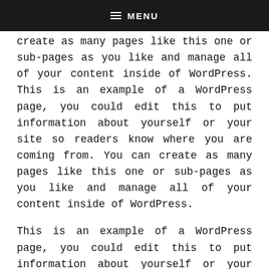≡ MENU
create as many pages like this one or sub-pages as you like and manage all of your content inside of WordPress. This is an example of a WordPress page, you could edit this to put information about yourself or your site so readers know where you are coming from. You can create as many pages like this one or sub-pages as you like and manage all of your content inside of WordPress.
This is an example of a WordPress page, you could edit this to put information about yourself or your site so readers know where you are coming from. You can create as many pages like this one or sub-pages as you like and manage all of your content inside of WordPress.